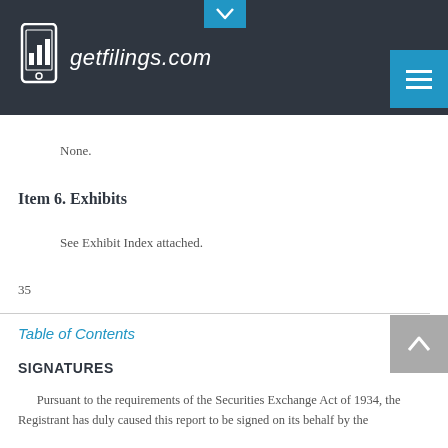getfilings.com
None.
Item 6. Exhibits
See Exhibit Index attached.
35
Table of Contents
SIGNATURES
Pursuant to the requirements of the Securities Exchange Act of 1934, the Registrant has duly caused this report to be signed on its behalf by the